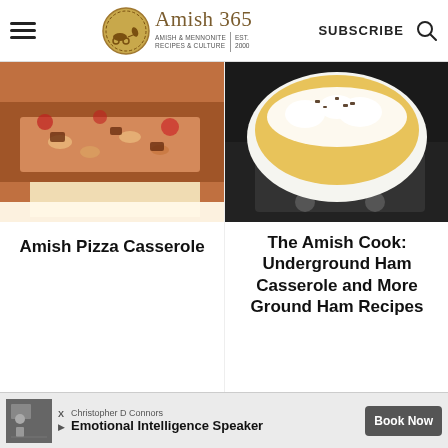Amish 365 | AMISH & MENNONITE RECIPES & CULTURE | EST. 2000 | SUBSCRIBE
[Figure (photo): Close-up of Amish Pizza Casserole with pasta, meat, and toppings]
[Figure (photo): Amish Cook dish with ham casserole in a white pan on a stove]
Amish Pizza Casserole
The Amish Cook: Underground Ham Casserole and More Ground Ham Recipes
[Figure (other): Advertisement: Christopher D Connors Emotional Intelligence Speaker Book Now]